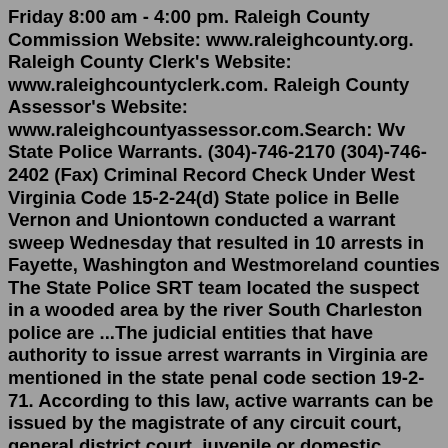Friday 8:00 am - 4:00 pm. Raleigh County Commission Website: www.raleighcounty.org. Raleigh County Clerk's Website: www.raleighcountyclerk.com. Raleigh County Assessor's Website: www.raleighcountyassessor.com.Search: Wv State Police Warrants. (304)-746-2170 (304)-746-2402 (Fax) Criminal Record Check Under West Virginia Code 15-2-24(d) State police in Belle Vernon and Uniontown conducted a warrant sweep Wednesday that resulted in 10 arrests in Fayette, Washington and Westmoreland counties The State Police SRT team located the suspect in a wooded area by the river South Charleston police are ...The judicial entities that have authority to issue arrest warrants in Virginia are mentioned in the state penal code section 19-2-71. According to this law, active warrants can be issued by the magistrate of any circuit court, general district court, juvenile or domestic relations tribunal and by the clerk of courts who handle the administrative services of these judicial bodies